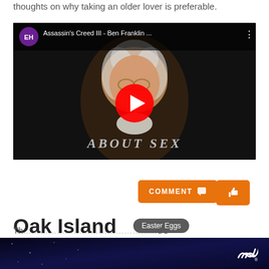thoughts on why taking an older lover is preferable.
[Figure (screenshot): YouTube video thumbnail showing a person dressed as Ben Franklin with text 'About Sex' overlaid. Video title: 'Assassin's Creed III - Ben Franklin ...' from channel EH. Includes YouTube play button overlay.]
COMMENT 🗨
👍
Oak Island
Easter Eggs
—
Th... ...d's
SHE CAN STEM